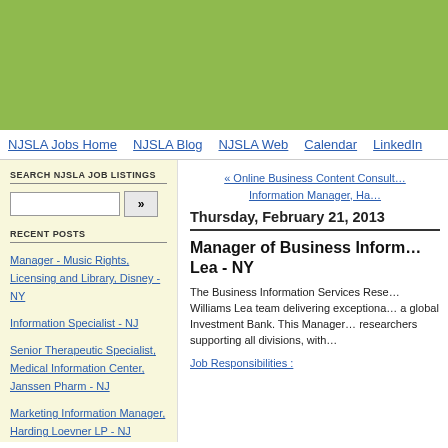[Figure (other): Green banner/header image at top of page]
NJSLA Jobs Home   NJSLA Blog   NJSLA Web   Calendar   LinkedIn
SEARCH NJSLA JOB LISTINGS
RECENT POSTS
Manager - Music Rights, Licensing and Library, Disney - NY
Information Specialist - NJ
Senior Therapeutic Specialist, Medical Information Center, Janssen Pharm - NJ
Marketing Information Manager, Harding Loevner LP - NJ
« Online Business Content Consult…
Information Manager, Ha…
Thursday, February 21, 2013
Manager of Business Inform… Lea - NY
The Business Information Services Rese… Williams Lea team delivering exceptiona… a global Investment Bank. This Manager… researchers supporting all divisions, with…
Job Responsibilities :